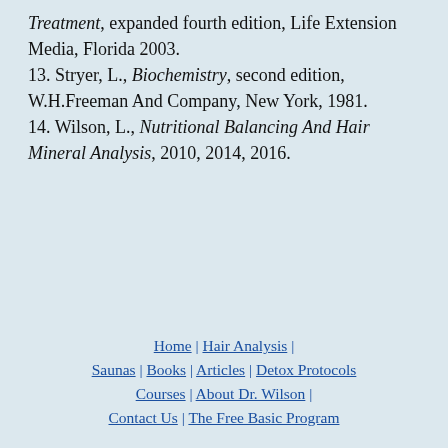Treatment, expanded fourth edition, Life Extension Media, Florida 2003.
13. Stryer, L., Biochemistry, second edition, W.H.Freeman And Company, New York, 1981.
14. Wilson, L., Nutritional Balancing And Hair Mineral Analysis, 2010, 2014, 2016.
Home | Hair Analysis | Saunas | Books | Articles | Detox Protocols | Courses | About Dr. Wilson | Contact Us | The Free Basic Program